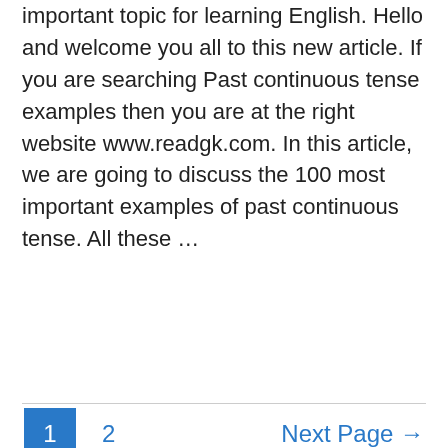important topic for learning English. Hello and welcome you all to this new article. If you are searching Past continuous tense examples then you are at the right website www.readgk.com. In this article, we are going to discuss the 100 most important examples of past continuous tense. All these …
Read More »
1  2  Next Page →